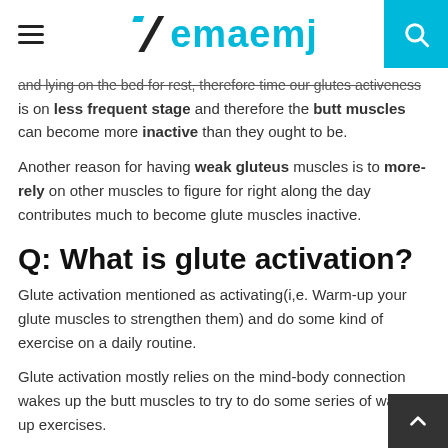emaemj
and lying on the bed for rest, therefore time our glutes activeness is on less frequent stage and therefore the butt muscles can become more inactive than they ought to be.
Another reason for having weak gluteus muscles is to more-rely on other muscles to figure for right along the day contributes much to become glute muscles inactive.
Q: What is glute activation?
Glute activation mentioned as activating(i,e. Warm-up your glute muscles to strengthen them) and do some kind of exercise on a daily routine.
Glute activation mostly relies on the mind-body connection wakes up the butt muscles to try to do some series of warm-up exercises.